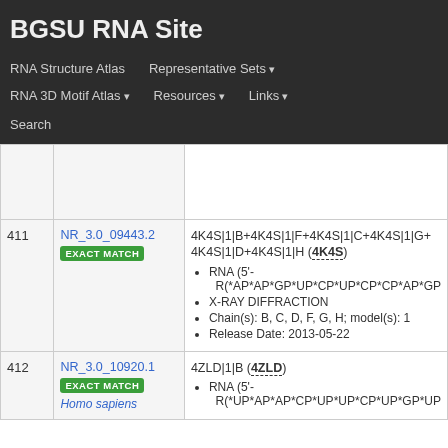BGSU RNA Site
RNA Structure Atlas | Representative Sets ▾ | RNA 3D Motif Atlas ▾ | Resources ▾ | Links ▾ | Search
| # | ID | Description |
| --- | --- | --- |
|  |  |  |
| 411 | NR_3.0_09443.2 EXACT MATCH | 4K4S|1|B+4K4S|1|F+4K4S|1|C+4K4S|1|G+4K4S|1|D+4K4S|1|H (4K4S)
• RNA (5'- R(*AP*AP*GP*UP*CP*UP*CP*CP*AP*GP...
• X-RAY DIFFRACTION
• Chain(s): B, C, D, F, G, H; model(s): 1
• Release Date: 2013-05-22 |
| 412 | NR_3.0_10920.1 EXACT MATCH Homo sapiens | 4ZLD|1|B (4ZLD)
• RNA (5'- R(*UP*AP*AP*CP*UP*UP*CP*UP*GP*UP... |